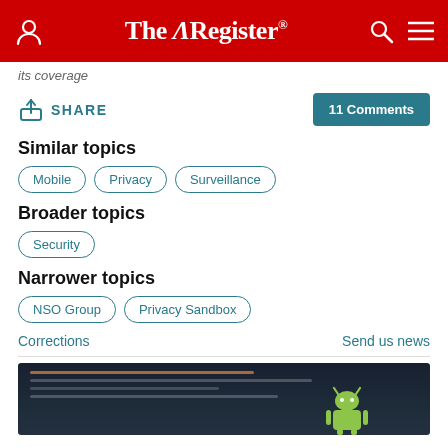The Register
its coverage
SHARE   11 Comments
Similar topics
Mobile
Privacy
Surveillance
Broader topics
Security
Narrower topics
NSO Group
Privacy Sandbox
Corrections
Send us news
[Figure (photo): Screenshot of code editor with Android robot mascot visible at the bottom]